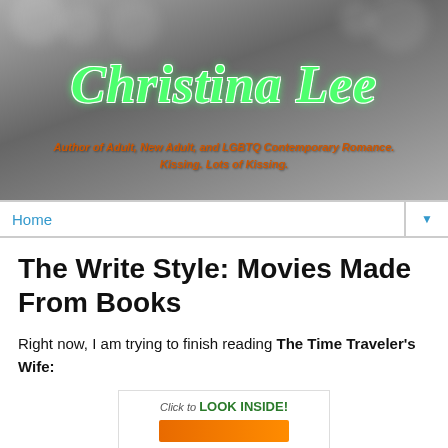[Figure (illustration): Website banner header with dark grey background showing a person's shoulder/neck area. Displays the author name 'Christina Lee' in large green cursive script with white outline. Below is the tagline 'Author of Adult, New Adult, and LGBTQ Contemporary Romance. Kissing. Lots of Kissing.' in orange italic text.]
Home ▼
The Write Style: Movies Made From Books
Right now, I am trying to finish reading The Time Traveler's Wife:
[Figure (screenshot): Amazon book widget showing 'Click to LOOK INSIDE!' text above an orange arrow/bar, partial view of a book cover.]